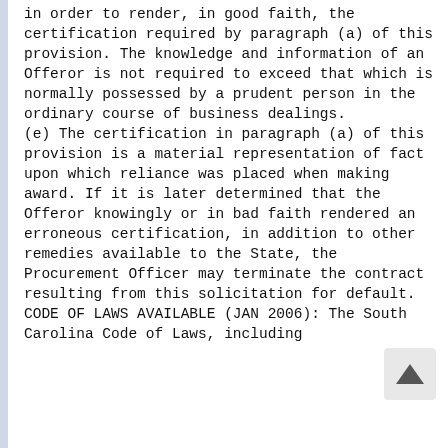in order to render, in good faith, the certification required by paragraph (a) of this provision. The knowledge and information of an Offeror is not required to exceed that which is normally possessed by a prudent person in the ordinary course of business dealings. (e) The certification in paragraph (a) of this provision is a material representation of fact upon which reliance was placed when making award. If it is later determined that the Offeror knowingly or in bad faith rendered an erroneous certification, in addition to other remedies available to the State, the Procurement Officer may terminate the contract resulting from this solicitation for default. CODE OF LAWS AVAILABLE (JAN 2006): The South Carolina Code of Laws, including